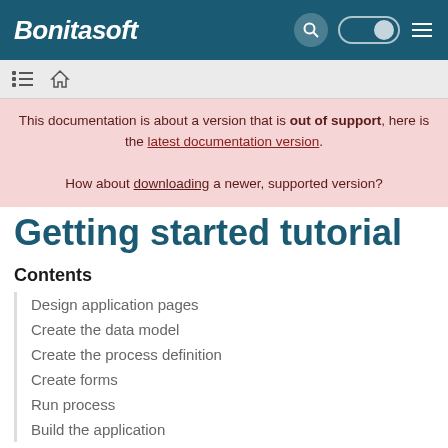Bonitasoft
This documentation is about a version that is out of support, here is the latest documentation version. How about downloading a newer, supported version?
Getting started tutorial
Contents
Design application pages
Create the data model
Create the process definition
Create forms
Run process
Build the application
Follow this tutorial and create an application with a